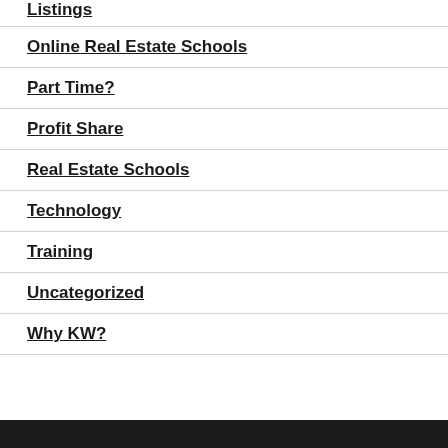Listings
Online Real Estate Schools
Part Time?
Profit Share
Real Estate Schools
Technology
Training
Uncategorized
Why KW?